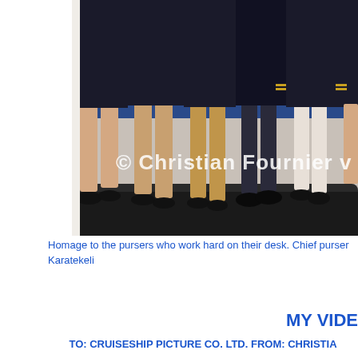[Figure (photo): A cropped photograph showing people in dark uniforms (pursers/crew) seated on what appears to a counter or desk, with only their lower bodies and legs visible. Several wear black shoes. A white copyright watermark reads '© Christian Fournier v' across the bottom of the image.]
Homage to the pursers who work hard on their desk. Chief purser Karatekeli
MY VIDE
TO: CRUISESHIP PICTURE CO. LTD. FROM: CHRISTIA